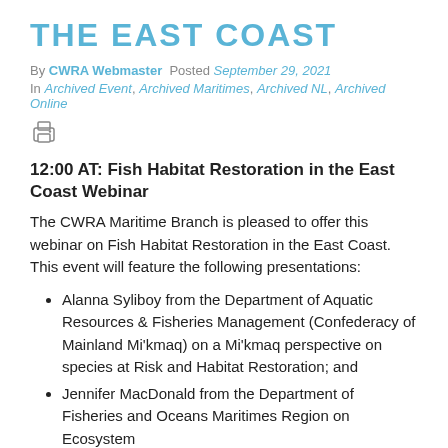THE EAST COAST
By CWRA Webmaster  Posted September 29, 2021
In Archived Event, Archived Maritimes, Archived NL, Archived Online
[Figure (other): Print/document icon]
12:00 AT: Fish Habitat Restoration in the East Coast Webinar
The CWRA Maritime Branch is pleased to offer this webinar on Fish Habitat Restoration in the East Coast. This event will feature the following presentations:
Alanna Syliboy from the Department of Aquatic Resources & Fisheries Management (Confederacy of Mainland Mi'kmaq) on a Mi'kmaq perspective on species at Risk and Habitat Restoration; and
Jennifer MacDonald from the Department of Fisheries and Oceans Maritimes Region on Ecosystem